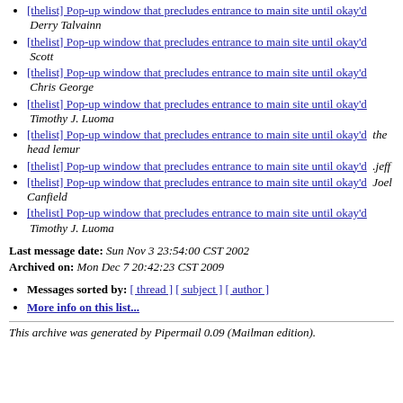[thelist] Pop-up window that precludes entrance to main site until okay'd  Derry Talvainn
[thelist] Pop-up window that precludes entrance to main site until okay'd  Scott
[thelist] Pop-up window that precludes entrance to main site until okay'd  Chris George
[thelist] Pop-up window that precludes entrance to main site until okay'd  Timothy J. Luoma
[thelist] Pop-up window that precludes entrance to main site until okay'd  the head lemur
[thelist] Pop-up window that precludes entrance to main site until okay'd  .jeff
[thelist] Pop-up window that precludes entrance to main site until okay'd  Joel Canfield
[thelist] Pop-up window that precludes entrance to main site until okay'd  Timothy J. Luoma
Last message date: Sun Nov 3 23:54:00 CST 2002
Archived on: Mon Dec 7 20:42:23 CST 2009
Messages sorted by: [ thread ] [ subject ] [ author ]
More info on this list...
This archive was generated by Pipermail 0.09 (Mailman edition).